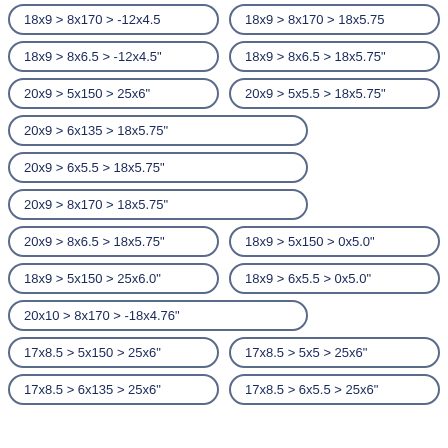18x9 > 8x170 > -12x4.5
18x9 > 8x170 > 18x5.75
18x9 > 8x6.5 > -12x4.5"
18x9 > 8x6.5 > 18x5.75"
20x9 > 5x150 > 25x6"
20x9 > 5x5.5 > 18x5.75"
20x9 > 6x135 > 18x5.75"
20x9 > 6x5.5 > 18x5.75"
20x9 > 8x170 > 18x5.75"
20x9 > 8x6.5 > 18x5.75"
18x9 > 5x150 > 0x5.0"
18x9 > 5x150 > 25x6.0"
18x9 > 6x5.5 > 0x5.0"
20x10 > 8x170 > -18x4.76"
17x8.5 > 5x150 > 25x6"
17x8.5 > 5x5 > 25x6"
17x8.5 > 6x135 > 25x6"
17x8.5 > 6x5.5 > 25x6"